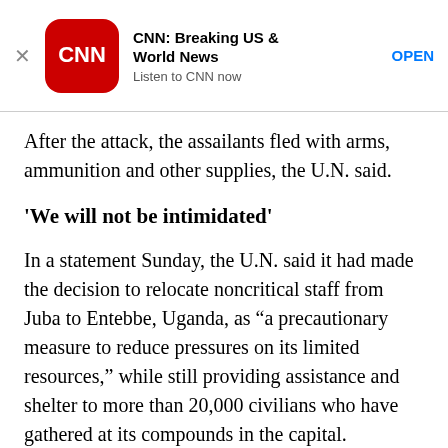[Figure (other): CNN app advertisement banner with CNN logo (red rounded square with white CNN text), app name 'CNN: Breaking US & World News', tagline 'Listen to CNN now', and an OPEN button link. A close (X) button is on the left.]
After the attack, the assailants fled with arms, ammunition and other supplies, the U.N. said.
'We will not be intimidated'
In a statement Sunday, the U.N. said it had made the decision to relocate noncritical staff from Juba to Entebbe, Uganda, as “a precautionary measure to reduce pressures on its limited resources,” while still providing assistance and shelter to more than 20,000 civilians who have gathered at its compounds in the capital.
The U.N. Mission in South Sudan is planning to reinforce its military presence in Bor and Pariang,